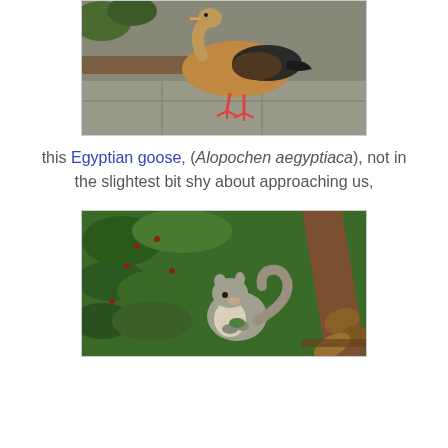[Figure (photo): Egyptian goose standing on pavement, showing brown/tan plumage and pink feet, viewed from the side]
this Egyptian goose, (Alopochen aegyptiaca), not in the slightest bit shy about approaching us,
[Figure (photo): Grey squirrel sitting among green leafy shrubs and fallen leaves on a garden bench slat]